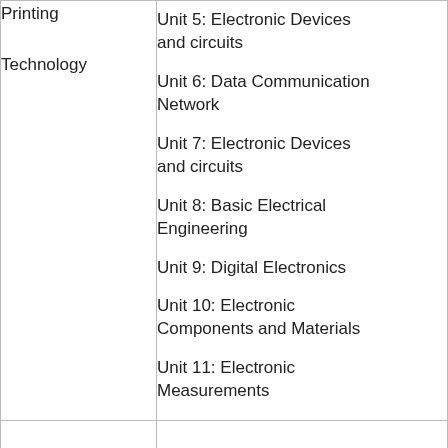| Printing Technology | Unit 5: Electronic Devices and circuits
Unit 6: Data Communication Network
Unit 7: Electronic Devices and circuits
Unit 8: Basic Electrical Engineering
Unit 9: Digital Electronics
Unit 10: Electronic Components and Materials
Unit 11: Electronic Measurements |
|  |  |